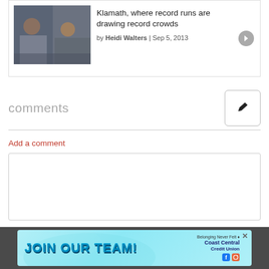[Figure (screenshot): Article card showing crowd photo thumbnail with headline 'Klamath, where record runs are drawing record crowds' by Heidi Walters, Sep 5, 2013]
comments
Add a comment
[Figure (screenshot): Empty comment text box input area]
[Figure (infographic): Advertisement banner: JOIN OUR TEAM! Coast Central Credit Union with social media icons and close button]